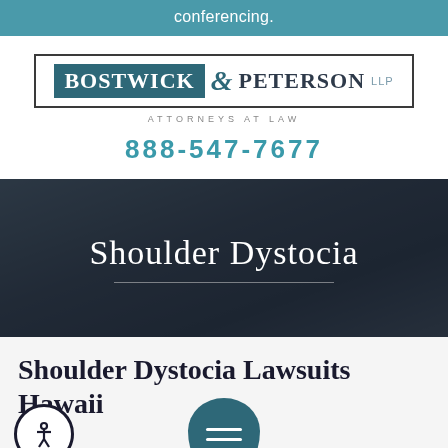conferencing.
[Figure (logo): Bostwick & Peterson LLP Attorneys at Law logo]
888-547-7677
[Figure (photo): Hero banner with dark overlay showing a baby, with 'Shoulder Dystocia' title text and horizontal divider]
Shoulder Dystocia Lawsuits Hawaii
Millions Recovered ... Birth Injury